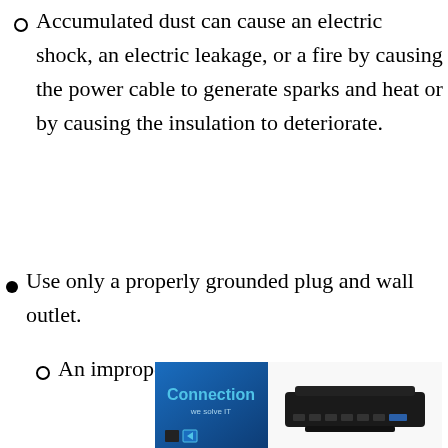Accumulated dust can cause an electric shock, an electric leakage, or a fire by causing the power cable to generate sparks and heat or by causing the insulation to deteriorate.
Use only a properly grounded plug and wall outlet.
An improper ground may cause
[Figure (other): Advertisement banner showing 'Connection - we solve IT' logo on blue background on the left, and a photo of a black USB docking station/hub device on the right.]